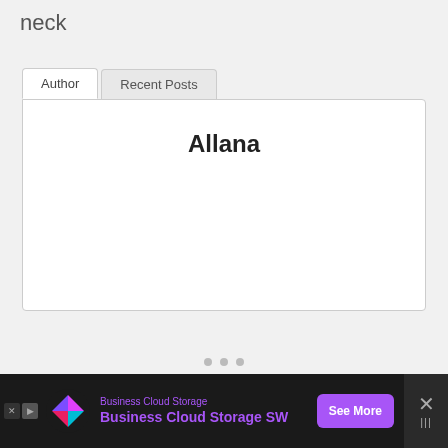neck
[Figure (screenshot): UI widget showing two tabs labeled 'Author' and 'Recent Posts'. The Author tab is active and shows the name 'Allana' in bold centered text.]
[Figure (screenshot): Advertisement banner at bottom: dark background, colorful diamond logo, purple text 'Business Cloud Storage' and bold 'Business Cloud Storage SW', purple 'See More' button, and close X button on right.]